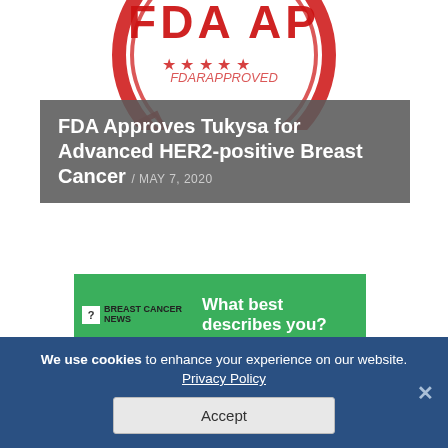[Figure (photo): FDA APPROVED red rubber stamp seal logo, circular with stars, partially visible at top of page]
FDA Approves Tukysa for Advanced HER2-positive Breast Cancer / MAY 7, 2020
[Figure (other): Breast Cancer News logo and green widget asking 'What best describes you?']
We use cookies to enhance your experience on our website.
Privacy Policy
Accept